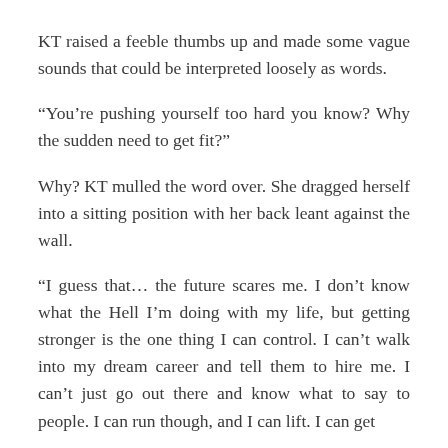KT raised a feeble thumbs up and made some vague sounds that could be interpreted loosely as words.
“You’re pushing yourself too hard you know? Why the sudden need to get fit?”
Why? KT mulled the word over. She dragged herself into a sitting position with her back leant against the wall.
“I guess that… the future scares me. I don’t know what the Hell I’m doing with my life, but getting stronger is the one thing I can control. I can’t walk into my dream career and tell them to hire me. I can’t just go out there and know what to say to people. I can run though, and I can lift. I can get